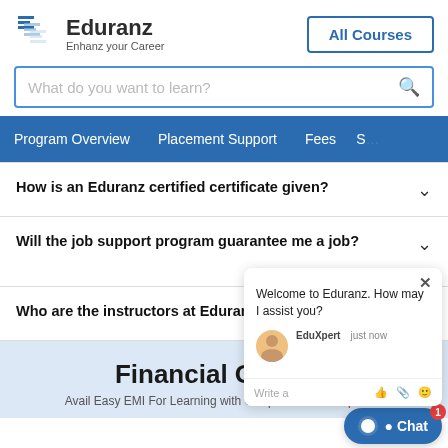[Figure (logo): Eduranz logo with 'Enhanz your Career' tagline]
All Courses
What do you want to learn?
Program Overview   Placement Support   Fees   S
How is an Eduranz certified certificate given?
Will the job support program guarantee me a job?
Who are the instructors at Eduranz?
Financial Options
Avail Easy EMI For Learning with Our partnered Companies
Welcome to Eduranz. How may I assist you?
EduXpert   just now
Write a